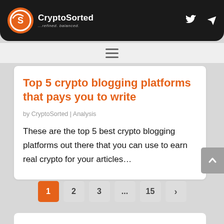CryptoSorted — ...refined. balanced.
Top 5 crypto blogging platforms that pays you to write
by CryptoSorted | Analysis
These are the top 5 best crypto blogging platforms out there that you can use to earn real crypto for your articles…
Pagination: 1 2 3 ... 15 >